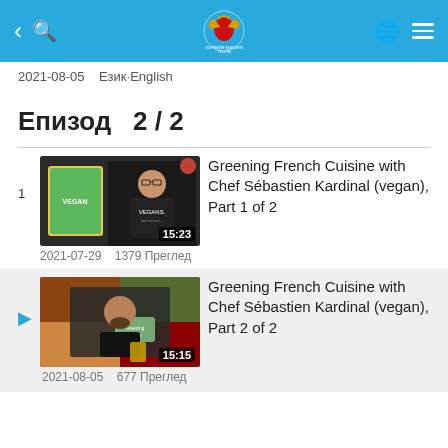Supreme Master TV header bar with navigation
2021-08-05   Език·English
Епизод  2 / 2
[Figure (screenshot): Video thumbnail for Greening French Cuisine with Chef Sébastien Kardinal (vegan), Part 1 of 2, duration 15:23]
Greening French Cuisine with Chef Sébastien Kardinal (vegan), Part 1 of 2
2021-07-29   1379 Преглед
[Figure (screenshot): Video thumbnail for Greening French Cuisine with Chef Sébastien Kardinal (vegan), Part 2 of 2, duration 15:15]
Greening French Cuisine with Chef Sébastien Kardinal (vegan), Part 2 of 2
2021-08-05   677 Преглед